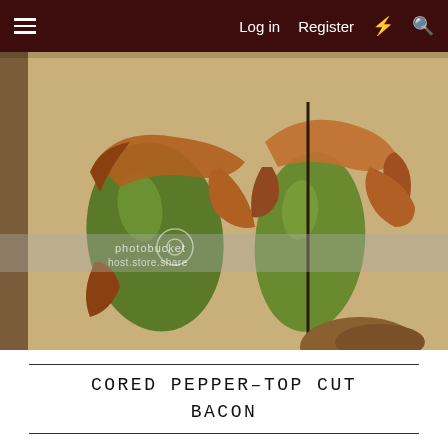Log in  Register
[Figure (photo): Two bacon-wrapped cored jalapeño peppers on a baking sheet, with a partial third visible at the bottom. Peppers are green with cooked bacon wrapped around them. A photobucket watermark is visible.]
CORED PEPPER-TOP CUT
BACON